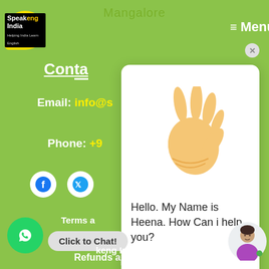Speakeng India | Menu
Mangalore
Con...
Email: info@s...
Phone: +9...
[Figure (screenshot): Social media icons: Facebook and Twitter circles]
Terms a...
Priva...
Refunds and Cancelations
[Figure (screenshot): Chat popup with waving hand emoji and message: Hello. My Name is Heena. How Can i help you?]
[Figure (screenshot): WhatsApp click to chat button]
...keng India 2021. All R... Reserved.